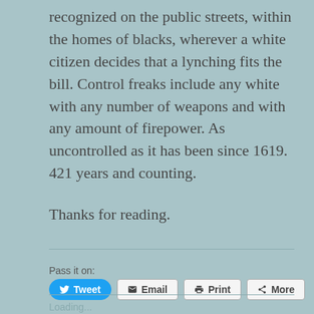recognized on the public streets, within the homes of blacks, wherever a white citizen decides that a lynching fits the bill. Control freaks include any white with any number of weapons and with any amount of firepower. As uncontrolled as it has been since 1619. 421 years and counting.
Thanks for reading.
Pass it on:
Tweet  Email  Print  More
Loading...